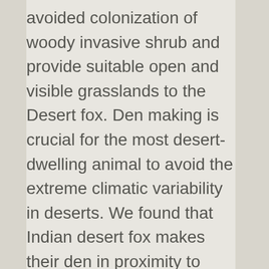avoided colonization of woody invasive shrub and provide suitable open and visible grasslands to the Desert fox. Den making is crucial for the most desert-dwelling animal to avoid the extreme climatic variability in deserts. We found that Indian desert fox makes their den in proximity to seasonal wetlands under rich cover of native grasses and forbs. Dietary analyses reveal that the Indian desert fox is highly dependent on insect and plant-based diets. Its food habit is completely adapted to the desert